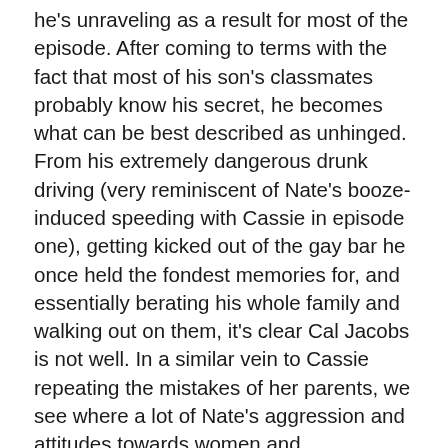he's unraveling as a result for most of the episode. After coming to terms with the fact that most of his son's classmates probably know his secret, he becomes what can be best described as unhinged. From his extremely dangerous drunk driving (very reminiscent of Nate's booze-induced speeding with Cassie in episode one), getting kicked out of the gay bar he once held the fondest memories for, and essentially berating his whole family and walking out on them, it's clear Cal Jacobs is not well. In a similar vein to Cassie repeating the mistakes of her parents, we see where a lot of Nate's aggression and attitudes towards women and relationships come from. Cal's suppression of his true self was overrun by hatred, bigotry, and straight-up not being a good dude—all things he passed down to Nate, lucky him. Also, run Eric Dane his Emmy for this episode, please!